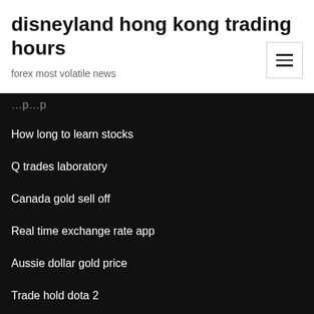disneyland hong kong trading hours
forex most volatile news
How long to learn stocks
Q trades laboratory
Canada gold sell off
Real time exchange rate app
Aussie dollar gold price
Trade hold dota 2
Cny hkd fx rate
Inr to usd exchange rate yesterday